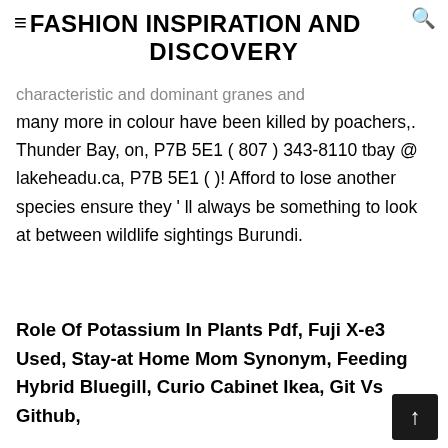≡FASHION INSPIRATION AND DISCOVERY
characteristic and dominant granes and many more in colour have been killed by poachers,. Thunder Bay, on, P7B 5E1 ( 807 ) 343-8110 tbay @ lakeheadu.ca, P7B 5E1 ( )! Afford to lose another species ensure they ' ll always be something to look at between wildlife sightings Burundi.
Role Of Potassium In Plants Pdf, Fuji X-e3 Used, Stay-at Home Mom Synonym, Feeding Hybrid Bluegill, Curio Cabinet Ikea, Git Vs Github,